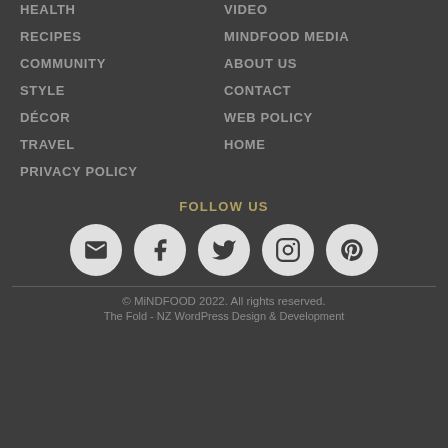HEALTH
VIDEO
RECIPES
MINDFOOD MEDIA
COMMUNITY
ABOUT US
STYLE
CONTACT
DÉCOR
WEB POLICY
TRAVEL
HOME
PRIVACY POLICY
FOLLOW US
[Figure (infographic): Five social media icons in circles: email/envelope, Facebook, Twitter, Instagram, Pinterest]
© MiNDFOOD 2022. All rights reserved.
The Fold - NZ WordPress Design & Development